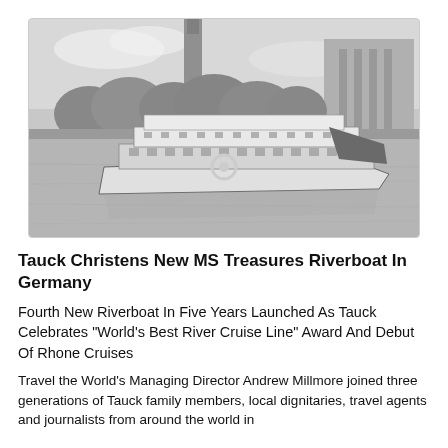[Figure (photo): Black and white photograph of a river cruise ship (riverboat) on a wide river, with trees and buildings including a tall tower visible on the far bank.]
Tauck Christens New MS Treasures Riverboat In Germany
Fourth New Riverboat In Five Years Launched As Tauck Celebrates "World's Best River Cruise Line" Award And Debut Of Rhone Cruises
Travel the World's Managing Director Andrew Millmore joined three generations of Tauck family members, local dignitaries, travel agents and journalists from around the world in